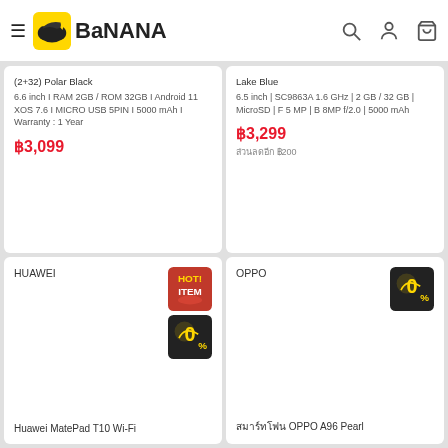BaNANA
(2+32) Polar Black
6.6 inch I RAM 2GB / ROM 32GB I Android 11 XOS 7.6 I MICRO USB 5PIN I 5000 mAh I Warranty : 1 Year
฿3,099
Lake Blue
6.5 inch | SC9863A 1.6 GHz | 2 GB / 32 GB | MicroSD | F 5 MP | B 8MP f/2.0 | 5000 mAh
฿3,299
ส่วนลดอีก ฿200
HUAWEI
Huawei MatePad T10 Wi-Fi
OPPO
สมาร์ทโฟน OPPO A96 Pearl